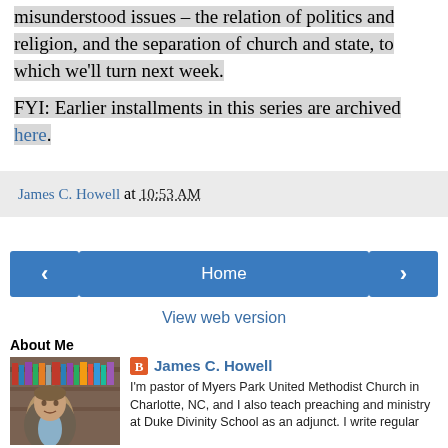misunderstood issues – the relation of politics and religion, and the separation of church and state, to which we'll turn next week.
FYI: Earlier installments in this series are archived here.
James C. Howell at 10:53 AM
[Figure (screenshot): Navigation row with back arrow button, Home button, and forward arrow button]
View web version
About Me
[Figure (photo): Photo of James C. Howell, a man with books behind him]
James C. Howell
I'm pastor of Myers Park United Methodist Church in Charlotte, NC, and I also teach preaching and ministry at Duke Divinity School as an adjunct. I write regular